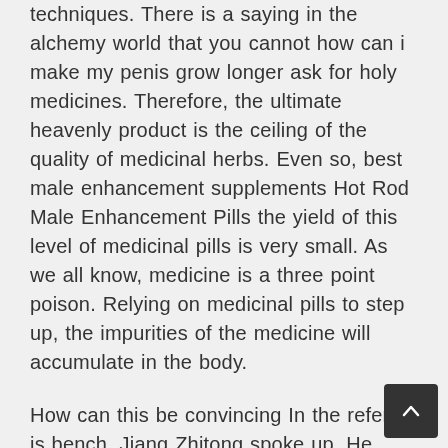techniques. There is a saying in the alchemy world that you cannot how can i make my penis grow longer ask for holy medicines. Therefore, the ultimate heavenly product is the ceiling of the quality of medicinal herbs. Even so, best male enhancement supplements Hot Rod Male Enhancement Pills the yield of this level of medicinal pills is very small. As we all know, medicine is a three point poison. Relying on medicinal pills to step up, the impurities of the medicine will accumulate in the body.
How can this be convincing In the referee is bench, Jiang Zhitong spoke up. He does not care about Ding Er is life or death. As long as it can bring trouble to Sun Mo is personal inheritance, he will be